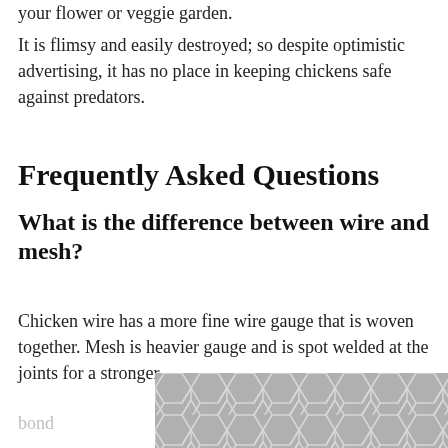your flower or veggie garden.
It is flimsy and easily destroyed; so despite optimistic advertising, it has no place in keeping chickens safe against predators.
Frequently Asked Questions
What is the difference between wire and mesh?
Chicken wire has a more fine wire gauge that is woven together. Mesh is heavier gauge and is spot welded at the joints for a stronger bond
[Figure (illustration): Hexagonal mesh/wire pattern in gray tones filling the bottom-right area of the page]